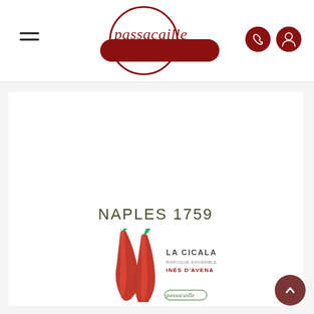passacaille
[Figure (logo): Passacaille record label logo: circular outline with cursive 'passacaille' text in dark red, overlaid with a dark red pill/search bar shape, plus phone and person icons in dark red circles on the right]
[Figure (illustration): Album cover for 'NAPLES 1759' by La Cicala Baroque Ensemble, Inés d'Avena. White background with two red chili peppers and Passacaille label logo at bottom.]